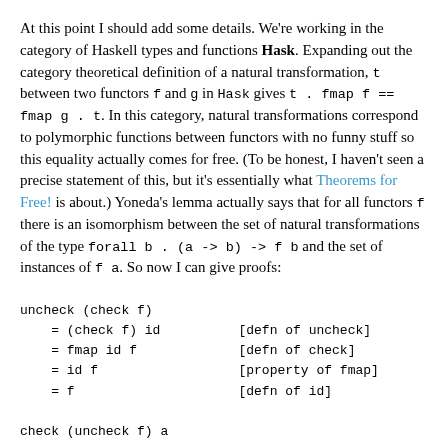At this point I should add some details. We're working in the category of Haskell types and functions Hask. Expanding out the category theoretical definition of a natural transformation, t between two functors f and g in Hask gives t . fmap f == fmap g . t. In this category, natural transformations correspond to polymorphic functions between functors with no funny stuff so this equality actually comes for free. (To be honest, I haven't seen a precise statement of this, but it's essentially what Theorems for Free! is about.) Yoneda's lemma actually says that for all functors f there is an isomorphism between the set of natural transformations of the type forall b . (a -> b) -> f b and the set of instances of f a. So now I can give proofs:
check (uncheck f) a